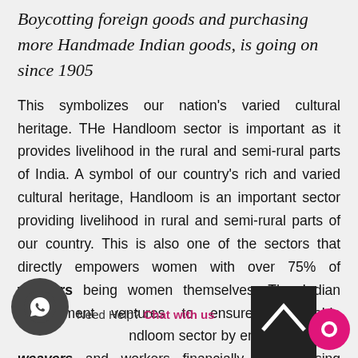Boycotting foreign goods and purchasing more Handmade Indian goods, is going on since 1905
This symbolizes our nation's varied cultural heritage. THe Handloom sector is important as it provides livelihood in the rural and semi-rural parts of India. A symbol of our country's rich and varied cultural heritage, Handloom is an important sector providing livelihood in rural and semi-rural parts of our country. This is also one of the sectors that directly empowers women with over 75% of weavers being women themselves. The Indian Government ventures to ensure sustainable ...ndloom sector by empowering our weavers and workers financially and infusing immense pride in their